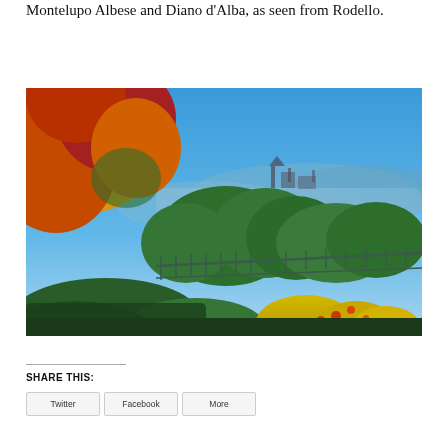Montelupo Albese and Diano d'Alba, as seen from Rodello.
[Figure (photo): Outdoor garden photo with colorful autumn foliage (red, orange, yellow) in the foreground on the left, green shrubs and bushes in the middle, a metal railing/fence, and a hazy blue sky with distant hills and a village silhouette in the background.]
SHARE THIS: